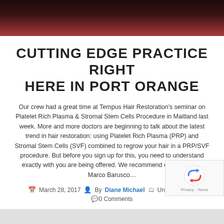[Figure (photo): Dark photo showing people at a seminar, cropped at top]
CUTTING EDGE PRACTICE RIGHT HERE IN PORT ORANGE
Our crew had a great time at Tempus Hair Restoration's seminar on Platelet Rich Plasma & Stromal Stem Cells Procedure in Maitland last week. More and more doctors are beginning to talk about the latest trend in hair restoration: using Platelet Rich Plasma (PRP) and Stromal Stem Cells (SVF) combined to regrow your hair in a PRP/SVF procedure. But before you sign up for this, you need to understand exactly with you are being offered. We recommend contacting Dr. Marco Barusco…
March 28, 2017  By Diane Michael  Uncategorized  0 Comments
[Figure (other): Pagination dots: 10 dots with first one active (green)]
[Figure (other): reCAPTCHA logo box with Privacy - Terms text]